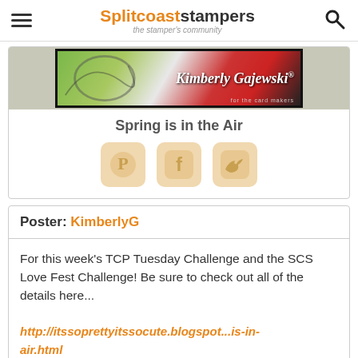Splitcoaststampers – the stamper's community
[Figure (photo): Partial banner image showing 'Kimberly Gajewski' text on a decorative background with green swirls and red elements]
Spring is in the Air
[Figure (infographic): Three social sharing icons: Pinterest (P), Facebook (f), Twitter (bird) in light orange/tan rounded squares]
Poster: KimberlyG
For this week's TCP Tuesday Challenge and the SCS Love Fest Challenge! Be sure to check out all of the details here...

http://itssoprettyitssocute.blogspot...is-in-air.html